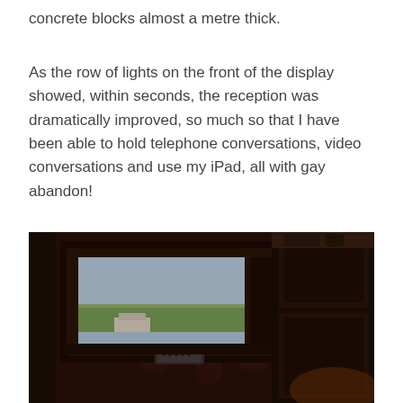concrete blocks almost a metre thick.
As the row of lights on the front of the display showed, within seconds, the reception was dramatically improved, so much so that I have been able to hold telephone conversations, video conversations and use my iPad, all with gay abandon!
[Figure (photo): Dark interior room photo showing a framed window with a view outside to a landscape, a small radio/speaker device on the windowsill, floral wallpaper, and a wooden wardrobe or cabinet on the right side.]